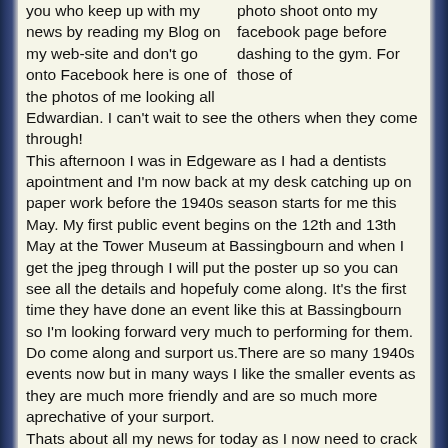photo shoot onto my facebook page before dashing to the gym. For those of you who keep up with my news by reading my Blog on my web-site and don't go onto Facebook here is one of the photos of me looking all Edwardian. I can't wait to see the others when they come through!
This afternoon I was in Edgeware as I had a dentists apointment and I'm now back at my desk catching up on paper work before the 1940s season starts for me this May. My first public event begins on the 12th and 13th May at the Tower Museum at Bassingbourn and when I get the jpeg through I will put the poster up so you can see all the details and hopefuly come along. It's the first time they have done an event like this at Bassingbourn so I'm looking forward very much to performing for them. Do come along and surport us.There are so many 1940s events now but in many ways I like the smaller events as they are much more friendly and are so much more aprechative of your surport.
Thats about all my news for today as I now need to crack on as I've been asked to write a small peice for the Dear John